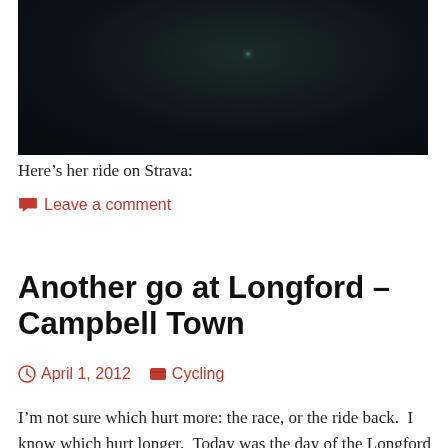[Figure (photo): Dark/night photograph, nearly black with faint teal dot of light in center]
Here’s her ride on Strava:
Leave a comment
Another go at Longford – Campbell Town
April 1, 2012    Cycling
I’m not sure which hurt more: the race, or the ride back.  I know which hurt longer.  Today was the day of the Longford